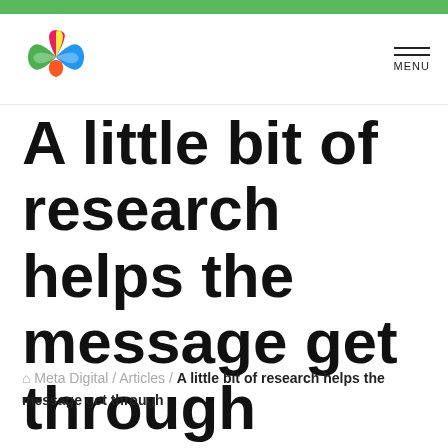[Figure (logo): Meta Digital colorful infinity-loop logo]
A little bit of research helps the message get through
Meta Digital / Articles / A little bit of research helps the message get through